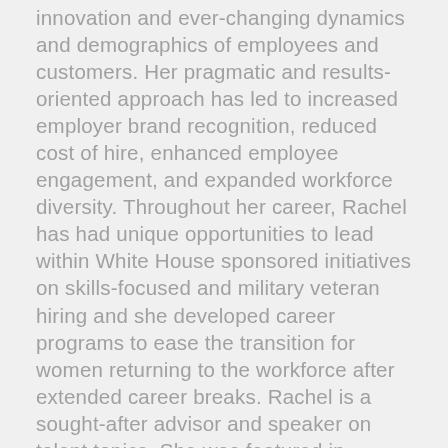innovation and ever-changing dynamics and demographics of employees and customers. Her pragmatic and results-oriented approach has led to increased employer brand recognition, reduced cost of hire, enhanced employee engagement, and expanded workforce diversity. Throughout her career, Rachel has had unique opportunities to lead within White House sponsored initiatives on skills-focused and military veteran hiring and she developed career programs to ease the transition for women returning to the workforce after extended career breaks. Rachel is a sought-after advisor and speaker on talent topics. She was featured in Entrepreneur.com's list of Ten Powerful Women Leaders of HR and her thought leadership has been highlighted in Thrive Global, CNBC, Fox Business television and podcast, FinancialPlanning.com, and other financial and recruitment publications.
Rachel studied Industrial/Organizational Psychology at the graduate level at Harvard University's School for Extension Studies and earned a Bachelor's degree in Psychology from Thomas Edison State University. She holds several Global Human Resources certifications and is a continuous learner and committed to continuous growth.